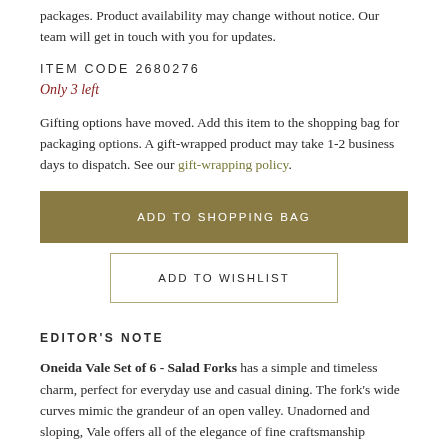packages. Product availability may change without notice. Our team will get in touch with you for updates.
ITEM CODE 2680276
Only 3 left
Gifting options have moved. Add this item to the shopping bag for packaging options. A gift-wrapped product may take 1-2 business days to dispatch. See our gift-wrapping policy.
ADD TO SHOPPING BAG
ADD TO WISHLIST
EDITOR'S NOTE
Oneida Vale Set of 6 - Salad Forks has a simple and timeless charm, perfect for everyday use and casual dining. The fork's wide curves mimic the grandeur of an open valley. Unadorned and sloping, Vale offers all of the elegance of fine craftsmanship